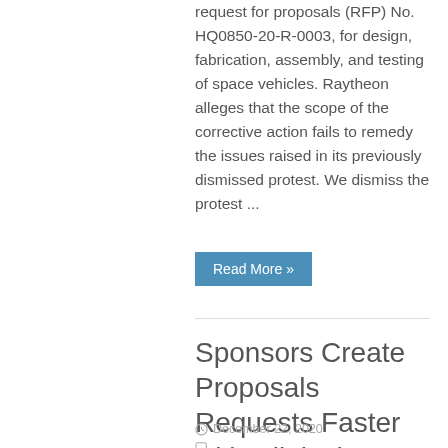request for proposals (RFP) No. HQ0850-20-R-0003, for design, fabrication, assembly, and testing of space vehicles. Raytheon alleges that the scope of the corrective action fails to remedy the issues raised in its previously dismissed protest. We dismiss the protest ...
Read More »
Sponsors Create Proposals Requests Faster with Clinical Maestro
December 22, 2020